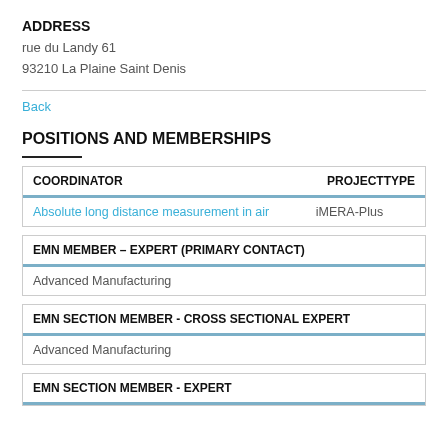ADDRESS
rue du Landy 61
93210 La Plaine Saint Denis
Back
POSITIONS AND MEMBERSHIPS
| COORDINATOR | PROJECTTYPE |
| --- | --- |
| Absolute long distance measurement in air | iMERA-Plus |
| EMN MEMBER – EXPERT (PRIMARY CONTACT) |
| --- |
| Advanced Manufacturing |
| EMN SECTION MEMBER - CROSS SECTIONAL EXPERT |
| --- |
| Advanced Manufacturing |
| EMN SECTION MEMBER - EXPERT |
| --- |